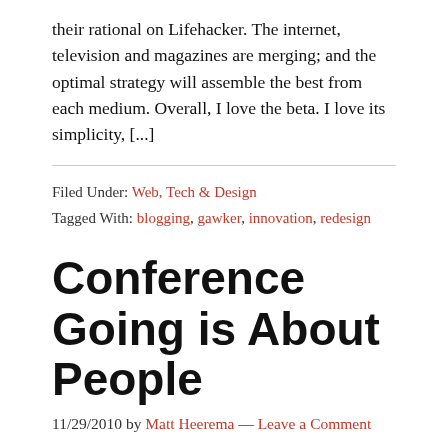their rational on Lifehacker. The internet, television and magazines are merging; and the optimal strategy will assemble the best from each medium. Overall, I love the beta. I love its simplicity, [...]
Filed Under: Web, Tech & Design
Tagged With: blogging, gawker, innovation, redesign
Conference Going is About People
11/29/2010 by Matt Heerema — Leave a Comment
Is going to a conference (SXSW, FOWD, AEA, Catalyst, Q, MAX, etc) about education, professional networking, or is it a good excuse for work to pay